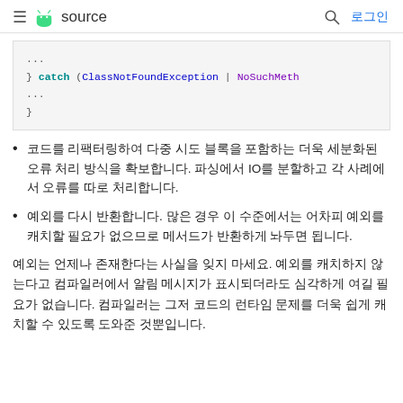≡ source  🔍 로그인
[Figure (screenshot): Code snippet showing: ... } catch (ClassNotFoundException | NoSuchMeth ... } in monospace font on light grey background]
코드를 리팩터링하여 다중 시도 블록을 포함하는 더욱 세분화된 오류 처리 방식을 확보합니다. 파싱에서 IO를 분할하고 각 사례에서 오류를 따로 처리합니다.
예외를 다시 반환합니다. 많은 경우 이 수준에서는 어차피 예외를 캐치할 필요가 없으므로 메서드가 반환하게 놔두면 됩니다.
예외는 언제나 존재한다는 사실을 잊지 마세요. 예외를 캐치하지 않는다고 컴파일러에서 알림 메시지가 표시되더라도 심각하게 여길 필요가 없습니다. 컴파일러는 그저 코드의 런타임 문제를 더욱 쉽게 캐치할 수 있도록 도와준 것뿐입니다.